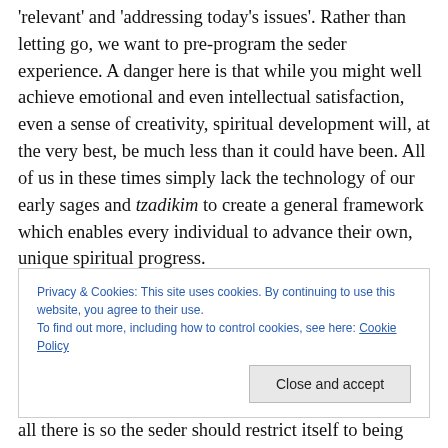'relevant' and 'addressing today's issues'. Rather than letting go, we want to pre-program the seder experience.  A danger here is that while you might well achieve emotional and even intellectual satisfaction, even a sense of creativity, spiritual development will, at the very best, be much less than it could have been.  All of us in these times simply lack the technology of our early sages and tzadikim to create a general framework which enables every individual to advance their own, unique spiritual progress.
Privacy & Cookies: This site uses cookies. By continuing to use this website, you agree to their use.
To find out more, including how to control cookies, see here: Cookie Policy
all there is so the seder should restrict itself to being